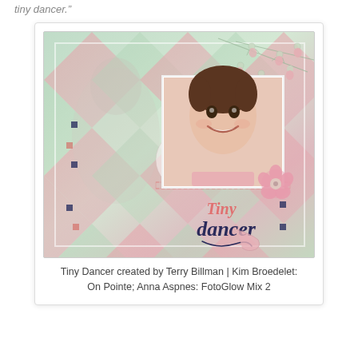tiny dancer.”
[Figure (photo): Scrapbook layout titled 'Tiny Dancer' featuring a smiling young girl in a ballet outfit as the main photo, with decorative ballerina embellishments, pink and mint green argyle/diamond patterned background, pink flower embellishment, and script text reading 'Tiny dancer'.]
Tiny Dancer created by Terry Billman | Kim Broedelet: On Pointe; Anna Aspnes: FotoGlow Mix 2